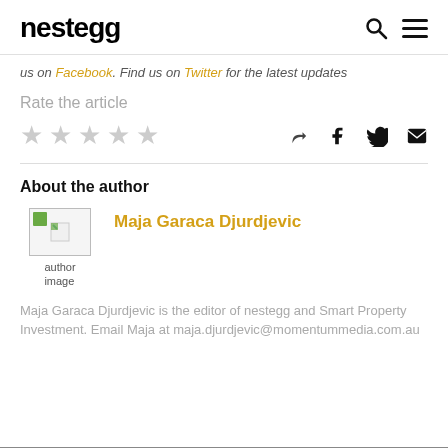nestegg
us on Facebook. Find us on Twitter for the latest updates
Rate the article
About the author
[Figure (photo): Author image placeholder with broken image icon]
Maja Garaca Djurdjevic
Maja Garaca Djurdjevic is the editor of nestegg and Smart Property Investment. Email Maja at maja.djurdjevic@momentummedia.com.au